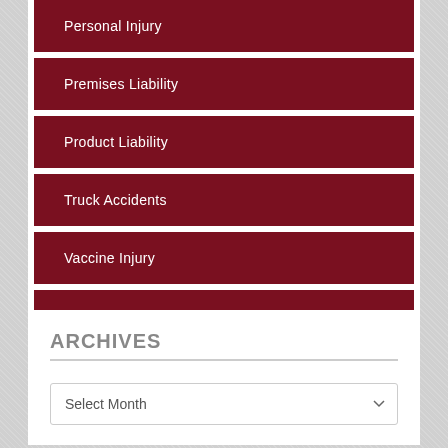Personal Injury
Premises Liability
Product Liability
Truck Accidents
Vaccine Injury
Wrongful Death
ARCHIVES
Select Month